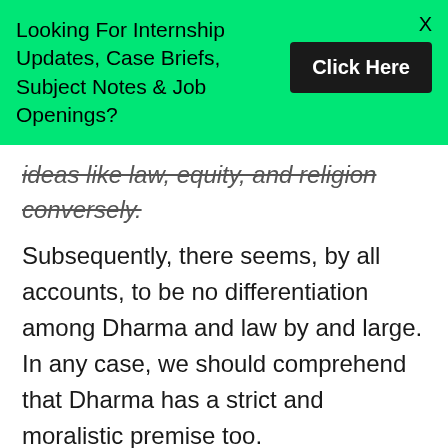Looking For Internship Updates, Case Briefs, Subject Notes & Job Openings?
ideas like law, equity, and religion conversely. Subsequently, there seems, by all accounts, to be no differentiation among Dharma and law by and large. In any case, we should comprehend that Dharma has a strict and moralistic premise too.
Origin of Dharma
Dharma began from Vedas which are Sruti (heard information) and they are the preeminent wellspring of information for people, as the portrayal of what is heard from the old ministers